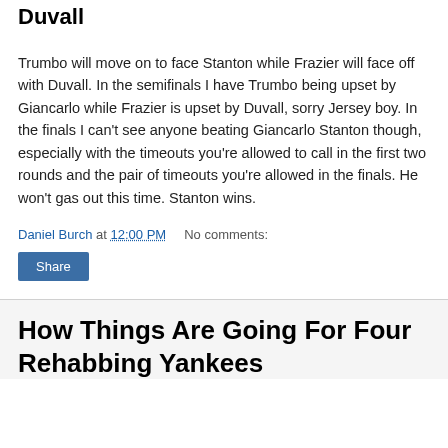Duvall
Trumbo will move on to face Stanton while Frazier will face off with Duvall. In the semifinals I have Trumbo being upset by Giancarlo while Frazier is upset by Duvall, sorry Jersey boy. In the finals I can't see anyone beating Giancarlo Stanton though, especially with the timeouts you're allowed to call in the first two rounds and the pair of timeouts you're allowed in the finals. He won't gas out this time. Stanton wins.
Daniel Burch at 12:00 PM   No comments:
How Things Are Going For Four Rehabbing Yankees